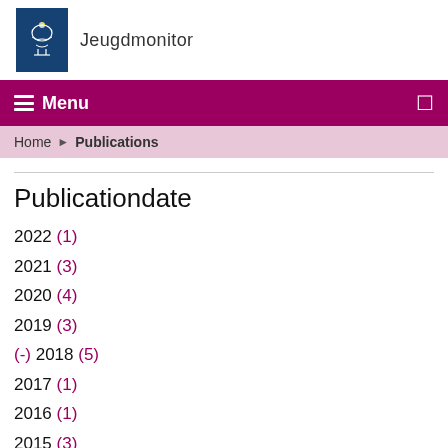Jeugdmonitor
Menu
Home › Publications
Publicationdate
2022 (1)
2021 (3)
2020 (4)
2019 (3)
(-) 2018 (5)
2017 (1)
2016 (1)
2015 (3)
(-) 2014 (3)
2013 (1)